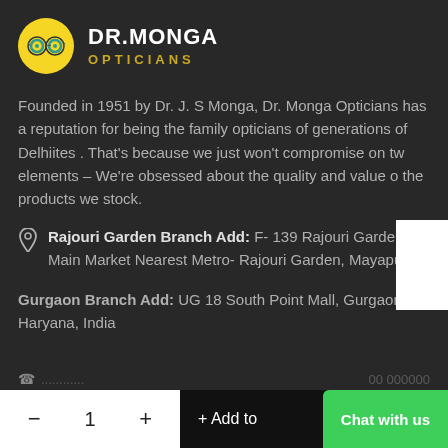[Figure (logo): Dr. Monga Opticians logo: yellow circle with two teal lens icons, text DR.MONGA in white bold, OPTICIANS in gold spaced letters]
Founded in 1951 by Dr. J. S Monga, Dr. Monga Opticians has a reputation for being the family opticians of generations of Delhiites . That's because we just won't compromise on two elements – We're obsessed about the quality and value of the products we stock.
Rajouri Garden Branch Add: F- 139 Rajouri Garden Main Market Nearest Metro- Rajouri Garden, Mayapuri
Gurgaon Branch Add: UG 18 South Point Mall, Gurgaon. Haryana, India